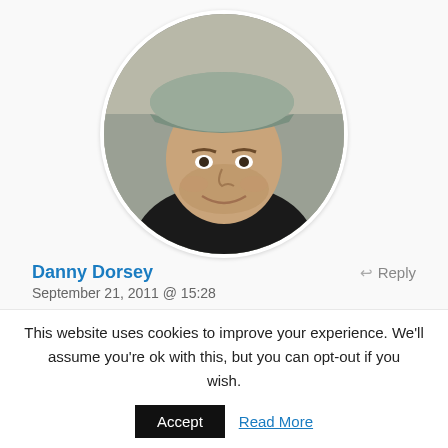[Figure (photo): Circular profile photo of a man wearing a gray cap and black shirt, smiling slightly, with blurred outdoor background]
Danny Dorsey
Reply
September 21, 2011 @ 15:28
This website uses cookies to improve your experience. We'll assume you're ok with this, but you can opt-out if you wish. Accept Read More